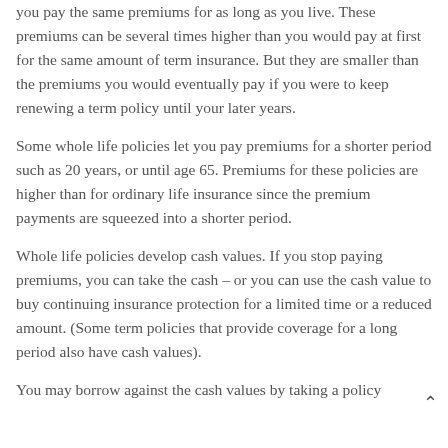you pay the same premiums for as long as you live. These premiums can be several times higher than you would pay at first for the same amount of term insurance. But they are smaller than the premiums you would eventually pay if you were to keep renewing a term policy until your later years.
Some whole life policies let you pay premiums for a shorter period such as 20 years, or until age 65. Premiums for these policies are higher than for ordinary life insurance since the premium payments are squeezed into a shorter period.
Whole life policies develop cash values. If you stop paying premiums, you can take the cash – or you can use the cash value to buy continuing insurance protection for a limited time or a reduced amount. (Some term policies that provide coverage for a long period also have cash values).
You may borrow against the cash values by taking a policy